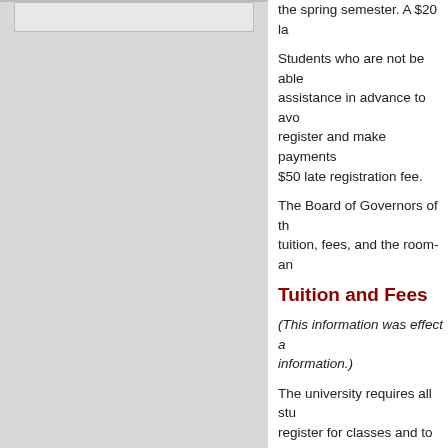the spring semester. A $20 la
Students who are not be able to... assistance in advance to avo... register and make payments... $50 late registration fee.
The Board of Governors of th... tuition, fees, and the room-an
Tuition and Fees
(This information was effect a... information.)
The university requires all stu... register for classes and to co... semester by the last day of th... will have their classes cance... registration charge. This coul... classes are closed.
Students are expected to pay... payment period. Students wh... by financial aid before the firs